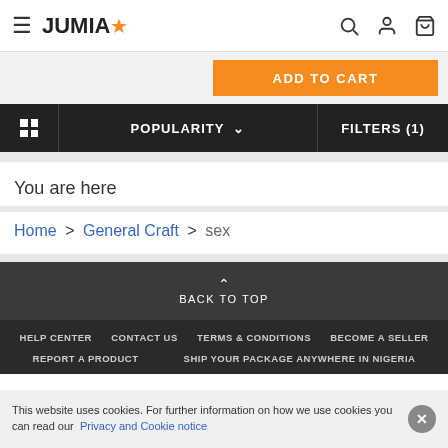JUMIA
[Figure (screenshot): ADD TO CART orange button on product page]
POPULARITY   FILTERS (1)
You are here
Home > General Craft > sex
BACK TO TOP
HELP CENTER   CONTACT US   TERMS & CONDITIONS   BECOME A SELLER   REPORT A PRODUCT   SHIP YOUR PACKAGE ANYWHERE IN NIGERIA
This website uses cookies. For further information on how we use cookies you can read our Privacy and Cookie notice